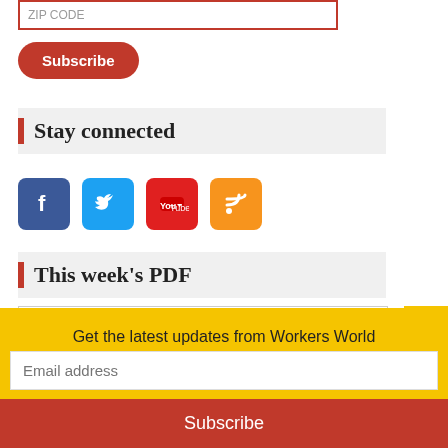ZIP CODE
Subscribe
Stay connected
[Figure (other): Social media icons: Facebook, Twitter, YouTube, RSS]
This week's PDF
[Figure (screenshot): Workers World / Mundo Obrero newspaper PDF thumbnail with Follow us box]
Get the latest updates from Workers World
Email address
Subscribe